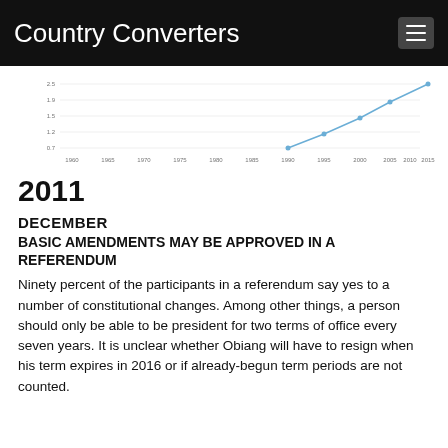Country Converters
[Figure (line-chart): Line chart showing data points from 1960 to 2015, with values rising sharply after 1990.]
2011
DECEMBER
BASIC AMENDMENTS MAY BE APPROVED IN A REFERENDUM
Ninety percent of the participants in a referendum say yes to a number of constitutional changes. Among other things, a person should only be able to be president for two terms of office every seven years. It is unclear whether Obiang will have to resign when his term expires in 2016 or if already-begun term periods are not counted.